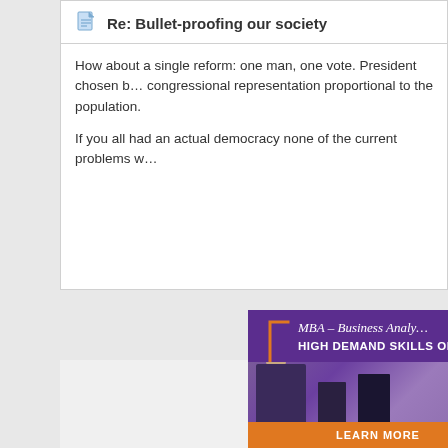Re: Bullet-proofing our society
How about a single reform: one man, one vote. President chosen b... congressional representation proportional to the population.
If you all had an actual democracy none of the current problems w...
[Figure (illustration): Advertisement banner for MBA – Business Analytics program. Purple background with orange bracket accent, photo of professionals networking, and orange 'LEARN MORE' button at bottom.]